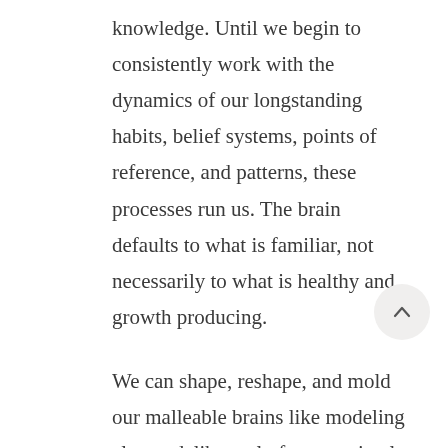knowledge. Until we begin to consistently work with the dynamics of our longstanding habits, belief systems, points of reference, and patterns, these processes run us. The brain defaults to what is familiar, not necessarily to what is healthy and growth producing.
We can shape, reshape, and mold our malleable brains like modeling clay to deliberately foster optimal growth and transformation. The terrain of the brain stands at the ready. We just need to pick up the tools and work methodically.